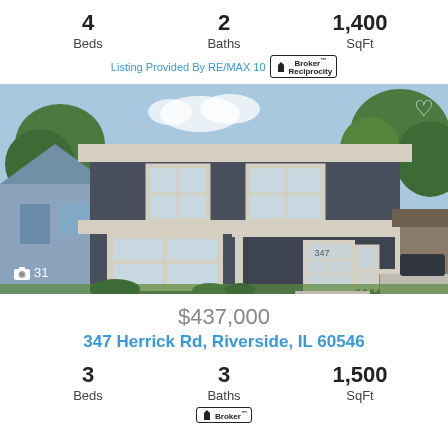4 Beds   2 Baths   1,400 SqFt
Listing Provided By RE/MAX 10  Broker Reciprocity
[Figure (photo): Front exterior photo of a two-story dark gray house with white trim, covered porch, two large windows on the first floor, and trees in the background. Camera icon with count 31 in lower left.]
$437,000
347 Herrick Rd, Riverside, IL 60546
3 Beds   3 Baths   1,500 SqFt
Broker Reciprocity